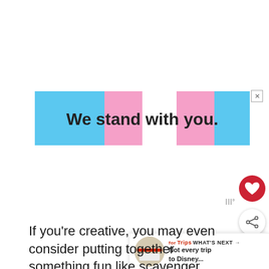[Figure (illustration): Advertisement banner with transgender pride flag colors (blue, pink, white) reading 'We stand with you.' with a close button]
[Figure (infographic): Social media UI overlay: red heart/save button, share button, 'What's Next' strip with 'Not every trip to Disney...' teaser]
If you're creative, you may even consider putting together something fun like scavenger hunt below to help get